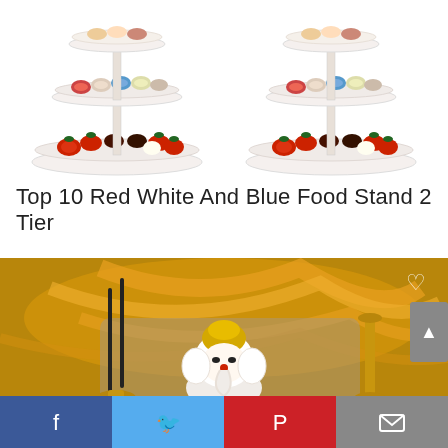[Figure (photo): Two three-tiered food/dessert stands side by side, white with decorative edges, holding macarons, chocolates, strawberries, and other sweets on white background.]
Top 10 Red White And Blue Food Stand 2 Tier
[Figure (photo): A Ganesh figurine (white and gold) in the foreground, with incense sticks on the left and a golden candle holder on the right, orange bokeh background with swirling lines. A heart/like icon appears in the upper right corner of the image.]
Facebook | Twitter | Pinterest | Email (social share bar)